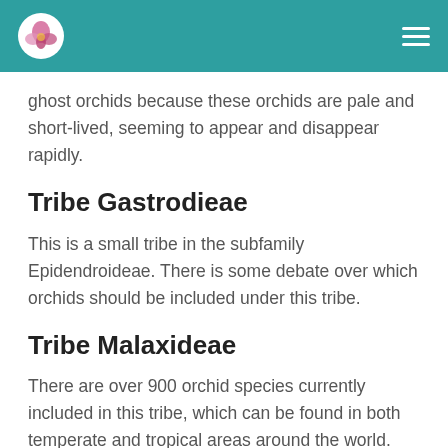Orchid Plant Care logo and navigation
ghost orchids because these orchids are pale and short-lived, seeming to appear and disappear rapidly.
Tribe Gastrodieae
This is a small tribe in the subfamily Epidendroideae. There is some debate over which orchids should be included under this tribe.
Tribe Malaxideae
There are over 900 orchid species currently included in this tribe, which can be found in both temperate and tropical areas around the world.